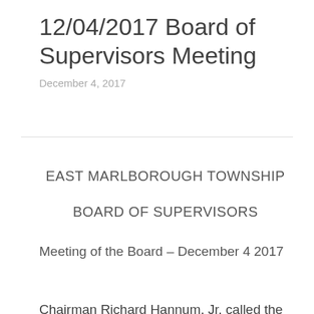12/04/2017 Board of Supervisors Meeting
December 4, 2017
EAST MARLBOROUGH TOWNSHIP
BOARD OF SUPERVISORS
Meeting of the Board – December 4 2017
Chairman Richard Hannum, Jr. called the public meeting to order at 7:05 p.m. in the